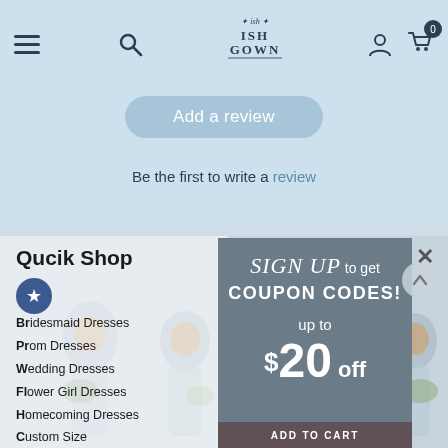ISH GOWN navigation bar with hamburger menu, search, logo, user icon, cart (0)
Add a review
Be the first to write a review
Qucik Shop
Bridesmaid Dresses
Prom Dresses
Wedding Dresses
Flower Girl Dresses
Homecoming Dresses
Custom Size
[Figure (screenshot): Popup modal with text: SIGN UP to get COUPON CODES! up to $20 off, with close X button, and ADD TO CART bar at bottom]
[Figure (photo): Background photo of bridesmaids in dresses, partially visible behind popup and sidebar]